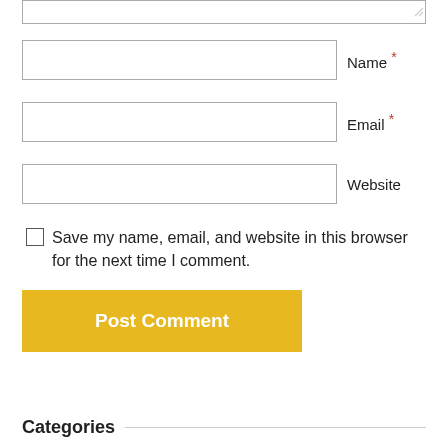[Figure (screenshot): Web comment form with textarea (top edge visible), Name field with red asterisk, Email field with red asterisk, Website field, save checkbox, Post Comment button, and Categories section header]
Name *
Email *
Website
Save my name, email, and website in this browser for the next time I comment.
Post Comment
Categories